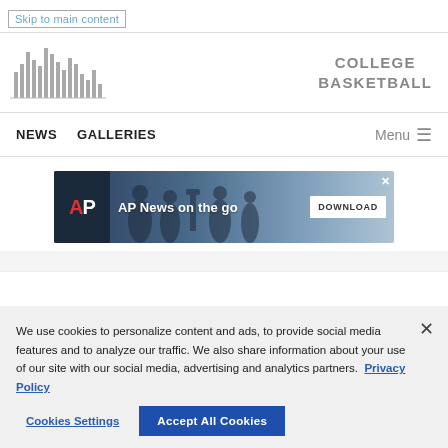Skip to main content
[Figure (logo): The Central Virginia logo — vertical bar chart style waveform graphic]
COLLEGE BASKETBALL
NEWS   GALLERIES   Menu ≡
[Figure (screenshot): AP News on the go advertisement banner with DOWNLOAD button]
We use cookies to personalize content and ads, to provide social media features and to analyze our traffic. We also share information about your use of our site with our social media, advertising and analytics partners. Privacy Policy
Cookies Settings   Accept All Cookies